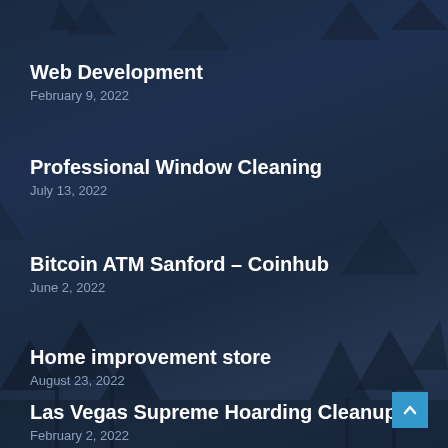Web Development
February 9, 2022
Professional Window Cleaning
July 13, 2022
Bitcoin ATM Sanford – Coinhub
June 2, 2022
Home improvement store
August 23, 2022
Las Vegas Supreme Hoarding Cleanup
February 2, 2022